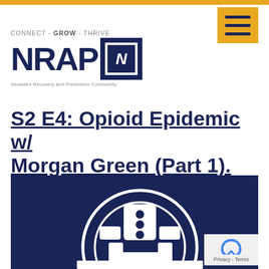CONNECT - GROW - THRIVE | NRAP N | Nevada's Recovery and Prevention Community
S2 E4: Opioid Epidemic w/ Morgan Green (Part 1).
[Figure (illustration): NRAP podcast logo on dark navy background showing a stylized robot/microphone icon with headphones, white on dark blue, inside a semi-circle arch design]